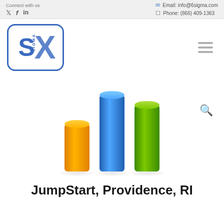Connect with us | Email: info@6sigma.com | Phone: (866) 409-1363
[Figure (logo): Six Sigma XL logo — large blue S and X letters inside a rounded blue rectangle border, with small 'SIGMA' text vertically between S and X]
[Figure (illustration): Three 3D bar chart bars: orange (short), blue (tall), green (medium-tall), arranged left to right as a decorative illustration]
JumpStart, Providence, RI